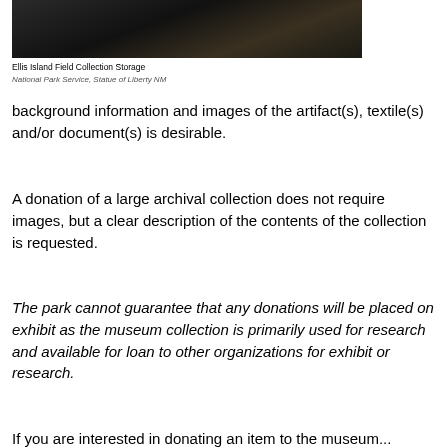[Figure (photo): Dark photograph of Ellis Island Field Collection Storage area showing stored objects/artifacts in dim lighting]
Ellis Island Field Collection Storage
National Park Service, Statue of Liberty NM
background information and images of the artifact(s), textile(s) and/or document(s) is desirable.
A donation of a large archival collection does not require images, but a clear description of the contents of the collection is requested.
The park cannot guarantee that any donations will be placed on exhibit as the museum collection is primarily used for research and available for loan to other organizations for exhibit or research.
If you are interested in donating an item to the museum...